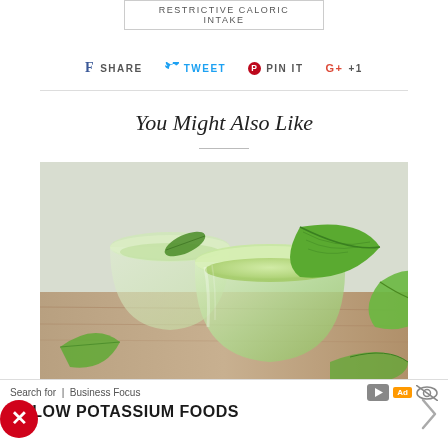RESTRICTIVE CALORIC INTAKE
f SHARE   TWEET   PIN IT   G+ +1
You Might Also Like
[Figure (photo): Two glass cups of green tea with fresh mint leaves on a wooden surface]
Search for  |  Business Focus
1.  LOW POTASSIUM FOODS